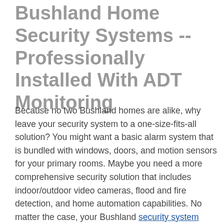Bushland Home Security Systems -- Professionally Installed With ADT Monitoring
Because no two Bushland homes are alike, why leave your security system to a one-size-fits-all solution? You might want a basic alarm system that is bundled with windows, doors, and motion sensors for your primary rooms. Maybe you need a more comprehensive security solution that includes indoor/outdoor video cameras, flood and fire detection, and home automation capabilities. No matter the case, your Bushland security system should include a 24/7 monitoring system, like ADT monitoring.